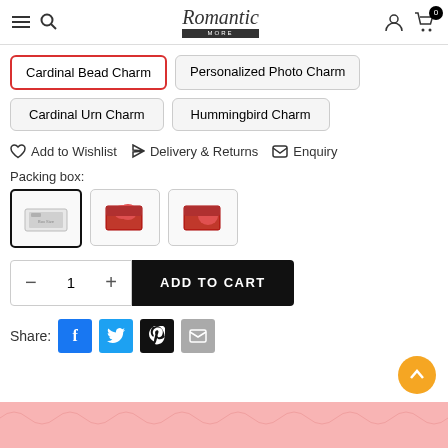Romantic More - Navigation Header
Cardinal Bead Charm (active tab)
Personalized Photo Charm
Cardinal Urn Charm
Hummingbird Charm
Add to Wishlist   Delivery & Returns   Enquiry
Packing box:
Quantity: 1   ADD TO CART
Share: